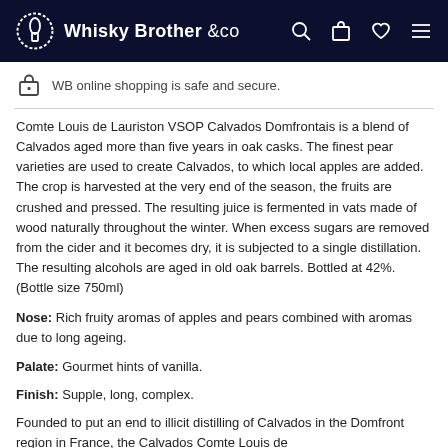WhiskyBrother &co
WB online shopping is safe and secure.
Comte Louis de Lauriston VSOP Calvados Domfrontais is a blend of Calvados aged more than five years in oak casks. The finest pear varieties are used to create Calvados, to which local apples are added. The crop is harvested at the very end of the season, the fruits are crushed and pressed. The resulting juice is fermented in vats made of wood naturally throughout the winter. When excess sugars are removed from the cider and it becomes dry, it is subjected to a single distillation. The resulting alcohols are aged in old oak barrels. Bottled at 42%. (Bottle size 750ml)
Nose: Rich fruity aromas of apples and pears combined with aromas due to long ageing.
Palate: Gourmet hints of vanilla.
Finish: Supple, long, complex.
Founded to put an end to illicit distilling of Calvados in the Domfront region in France, the Calvados Comte Louis de